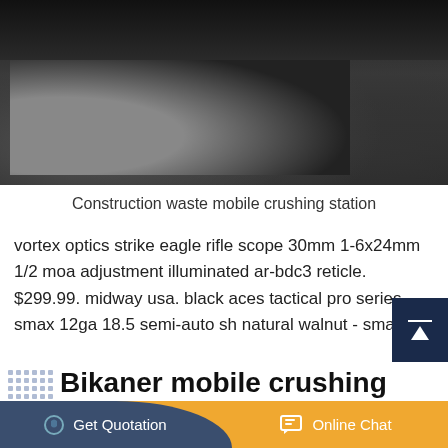[Figure (photo): Industrial construction waste mobile crushing station equipment with large tires visible, dark industrial machinery photographed from ground level]
Construction waste mobile crushing station
vortex optics strike eagle rifle scope 30mm 1-6x24mm 1/2 moa adjustment illuminated ar-bdc3 reticle. $299.99. midway usa. black aces tactical pro series smax 12ga 18.5 semi-auto sh natural walnut - smaxwd.
Bikaner mobile crushing station processing construction waste